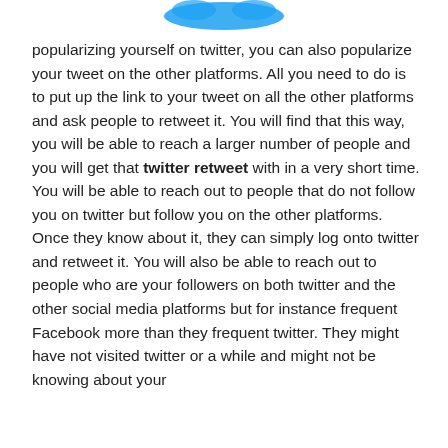[Figure (logo): Twitter bird logo (blue) partially visible at top of page]
popularizing yourself on twitter, you can also popularize your tweet on the other platforms. All you need to do is to put up the link to your tweet on all the other platforms and ask people to retweet it. You will find that this way, you will be able to reach a larger number of people and you will get that twitter retweet with in a very short time. You will be able to reach out to people that do not follow you on twitter but follow you on the other platforms. Once they know about it, they can simply log onto twitter and retweet it. You will also be able to reach out to people who are your followers on both twitter and the other social media platforms but for instance frequent Facebook more than they frequent twitter. They might have not visited twitter or a while and might not be knowing about your